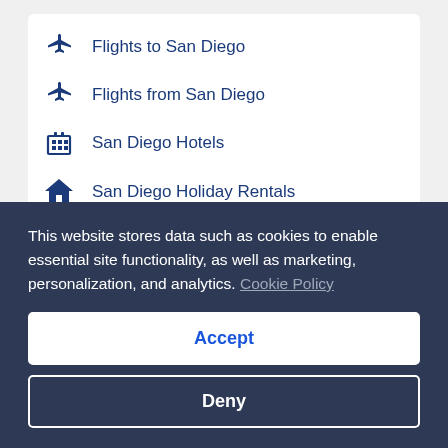Flights to San Diego
Flights from San Diego
San Diego Hotels
San Diego Holiday Rentals
San Diego Car Hire
Top Trending
This website stores data such as cookies to enable essential site functionality, as well as marketing, personalization, and analytics. Cookie Policy
Accept
Deny